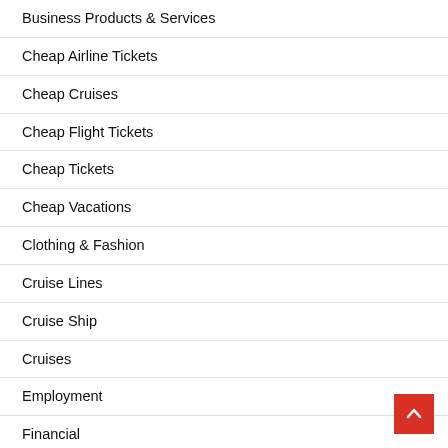Business Products & Services
Cheap Airline Tickets
Cheap Cruises
Cheap Flight Tickets
Cheap Tickets
Cheap Vacations
Clothing & Fashion
Cruise Lines
Cruise Ship
Cruises
Employment
Financial
Foods & Culinary